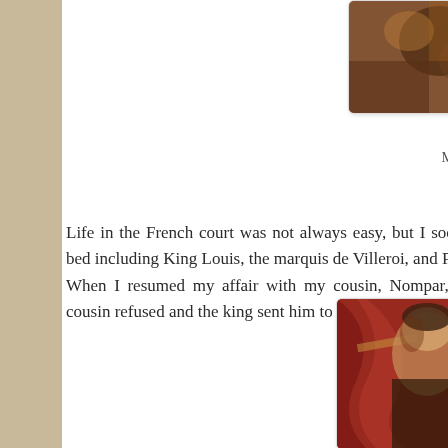[Figure (photo): Partial view of a classical portrait painting in warm brown tones, cropped at top-right corner of page]
He
Mistress of
Life in the French court was not always easy, but I soon learned to my bed including King Louis, the marquis de Villeroi, and Puyguilheim.
When I resumed my affair with my cousin, Nompar, King Louis my cousin refused and the king sent him to the Bastille for six me
[Figure (photo): Classical portrait painting showing a woman in red drapery, bottom-right corner of page]